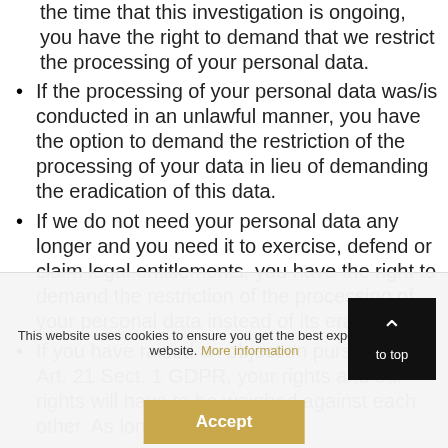the time that this investigation is ongoing, you have the right to demand that we restrict the processing of your personal data.
If the processing of your personal data was/is conducted in an unlawful manner, you have the option to demand the restriction of the processing of your data in lieu of demanding the eradication of this data.
If we do not need your personal data any longer and you need it to exercise, defend or claim legal entitlements, you have the right to demand the restriction of the processing of your personal data instead of its eradication.
If you have raised an objection pursuant to Art. 21 Sect. 1 GDPR, your rights and our rights will have to be weighed against each other. As long as it has
This website uses cookies to ensure you get the best experience on our website. More information
Accept
to top